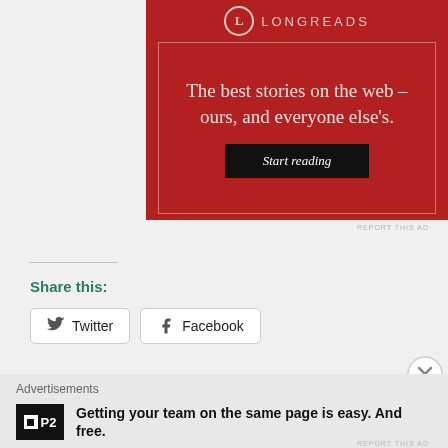[Figure (illustration): Longreads advertisement banner with red background, logo, tagline 'The best stories on the web – ours, and everyone else's.' and a 'Start reading' button]
REPORT THIS AD
Share this:
Twitter
Facebook
[Figure (illustration): Close/dismiss X circle button]
Advertisements
[Figure (logo): P2 logo — black square with white inner square]
Getting your team on the same page is easy. And free.
REPORT THIS AD